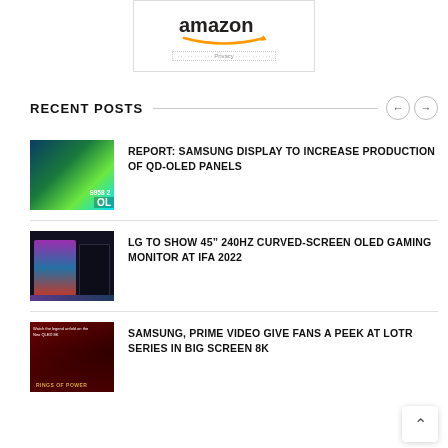[Figure (logo): Amazon logo with orange smile arrow, white background, Privacy label at bottom]
RECENT POSTS
[Figure (photo): Samsung S958 QD-OLED TV/monitor with green swirling display, showing text S958 2 OL]
REPORT: SAMSUNG DISPLAY TO INCREASE PRODUCTION OF QD-OLED PANELS
[Figure (photo): LG 45 inch curved OLED gaming monitor shown from front and side angle]
LG TO SHOW 45” 240HZ CURVED-SCREEN OLED GAMING MONITOR AT IFA 2022
[Figure (photo): Samsung Neo QLED 8K promotional image for Lord of the Rings Rings of Power series, dark red background with character]
SAMSUNG, PRIME VIDEO GIVE FANS A PEEK AT LOTR SERIES IN BIG SCREEN 8K